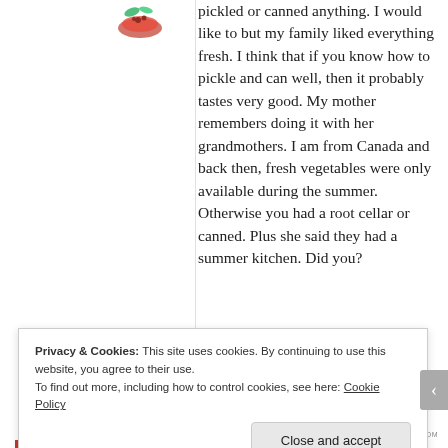[Figure (illustration): Small decorative icon showing a bowl or food item, partially visible in top left area]
pickled or canned anything. I would like to but my family liked everything fresh. I think that if you know how to pickle and can well, then it probably tastes very good. My mother remembers doing it with her grandmothers. I am from Canada and back then, fresh vegetables were only available during the summer. Otherwise you had a root cellar or canned. Plus she said they had a summer kitchen. Did you?
Privacy & Cookies: This site uses cookies. By continuing to use this website, you agree to their use. To find out more, including how to control cookies, see here: Cookie Policy
Close and accept